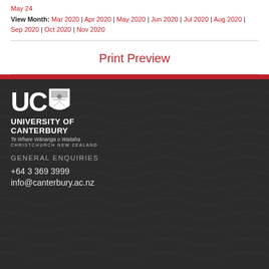May 24
View Month: Mar 2020 | Apr 2020 | May 2020 | Jun 2020 | Jul 2020 | Aug 2020 | Sep 2020 | Oct 2020 | Nov 2020
Print Preview
[Figure (logo): University of Canterbury logo with UC letters, shield crest, university name, Te Whare Wānanga o Waitaha, Christchurch New Zealand]
GENERAL ENQUIRIES
+64 3 369 3999
info@canterbury.ac.nz